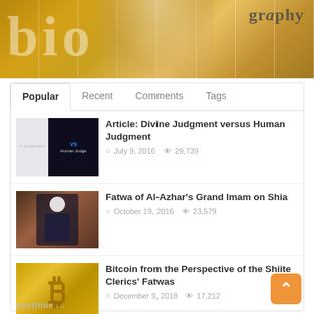[Figure (photo): Website banner with large faded text 'bio' overlaid on a collage of elderly bearded figures with golden/warm tones, with 'graphy' text in upper right corner]
Popular | Recent | Comments | Tags
[Figure (photo): Black background thumbnail with text 'ie Judgement VS Human Judge']
Article: Divine Judgment versus Human Judgment
July 9, 2016   29,739
[Figure (photo): Thumbnail of Al-Azhar Grand Imam in dark clothing against reddish-brown background]
Fatwa of Al-Azhar's Grand Imam on Shia
October 19, 2016   23,579
[Figure (photo): Golden Bitcoin coin thumbnail]
Bitcoin from the Perspective of the Shiite Clerics' Fatwas
December 9, 2018   17,212